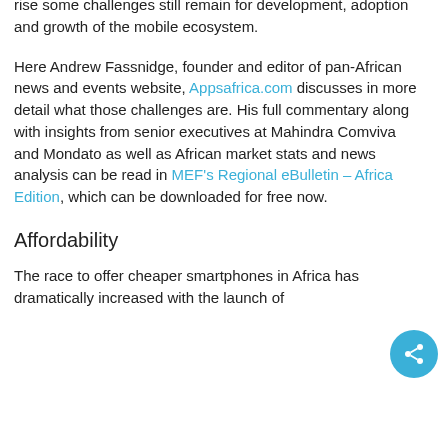rise some challenges still remain for development, adoption and growth of the mobile ecosystem.
Here Andrew Fassnidge, founder and editor of pan-African news and events website, Appsafrica.com discusses in more detail what those challenges are. His full commentary along with insights from senior executives at Mahindra Comviva and Mondato as well as African market stats and news analysis can be read in MEF's Regional eBulletin – Africa Edition, which can be downloaded for free now.
Affordability
The race to offer cheaper smartphones in Africa has dramatically increased with the launch of